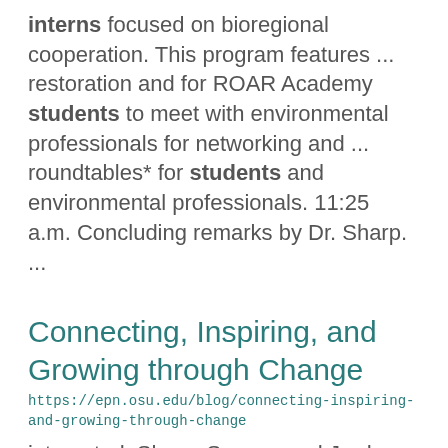interns focused on bioregional cooperation. This program features ... restoration and for ROAR Academy students to meet with environmental professionals for networking and ... roundtables* for students and environmental professionals. 11:25 a.m. Concluding remarks by Dr. Sharp. ...
Connecting, Inspiring, and Growing through Change
https://epn.osu.edu/blog/connecting-inspiring-and-growing-through-change
interested. Shane Scaggs and Jordan Inskeep, current Ohio State students,